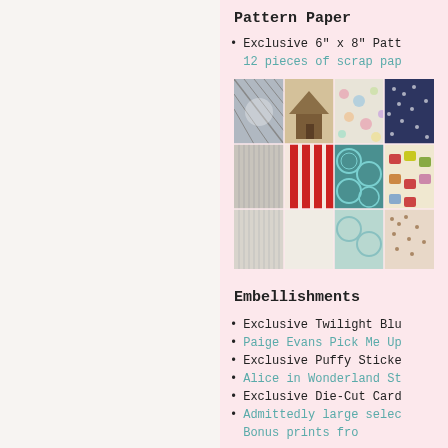Pattern Paper
Exclusive 6" x 8" Patt...
12 pieces of scrap pap...
[Figure (photo): Collage of patterned scrapbook papers including floral, dotted, striped, and other patterns in various colors]
Embellishments
Exclusive Twilight Blu...
Paige Evans Pick Me Up...
Exclusive Puffy Sticke...
Alice in Wonderland St...
Exclusive Die-Cut Card...
Admittedly large selec...
Bonus prints fro...